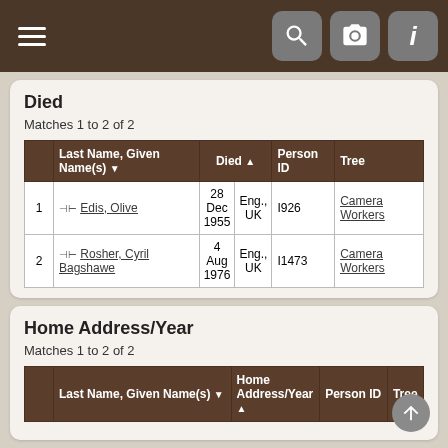Navigation bar with hamburger menu and icons for search, camera, and info
Died
Matches 1 to 2 of 2
|  | Last Name, Given Name(s) | Died |  | Person ID | Tree |
| --- | --- | --- | --- | --- | --- |
| 1 | Edis, Olive | 28 Dec 1955 | Eng., UK | I926 | Camera Workers |
| 2 | Rosher, Cyril Bagshawe | 4 Aug 1976 | Eng., UK | I1473 | Camera Workers |
Home Address/Year
Matches 1 to 2 of 2
|  | Last Name, Given Name(s) | Home Address/Year | Person ID | Tree |
| --- | --- | --- | --- | --- |